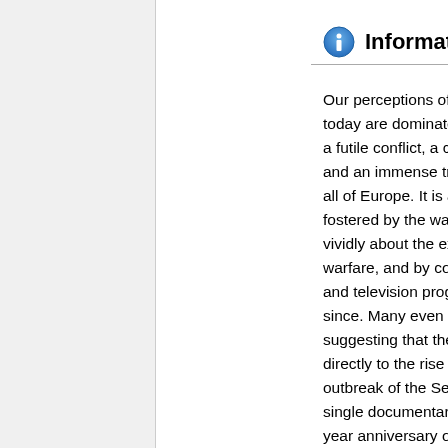Information [edit]
Our perceptions of the First World War today are dominated by the idea it was a futile conflict, a colossal waste of life, and an immense tragedy for Britain and all of Europe. It is a view that has been fostered by the war poets who wrote vividly about the experience of trench warfare, and by countless novels, films and television programmes in the years since. Many even go as far as suggesting that the First World War led directly to the rise of Hitler and the outbreak of the Second World War. In a single documentary to mark the 100-year anniversary of the outbreak of war, Sir Max Hastings presents the argument that although it was a great tragedy, far from being futile, the First World War was completely unavoidable. Max